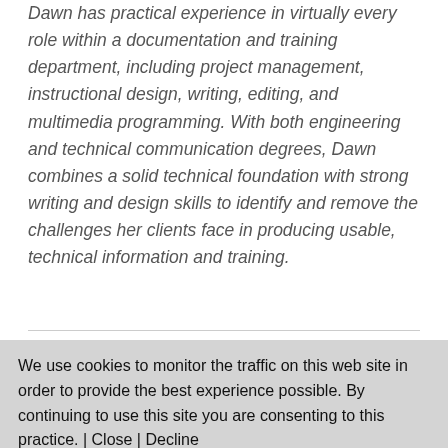Dawn has practical experience in virtually every role within a documentation and training department, including project management, instructional design, writing, editing, and multimedia programming. With both engineering and technical communication degrees, Dawn combines a solid technical foundation with strong writing and design skills to identify and remove the challenges her clients face in producing usable, technical information and training.
We use cookies to monitor the traffic on this web site in order to provide the best experience possible. By continuing to use this site you are consenting to this practice. | Close | Decline